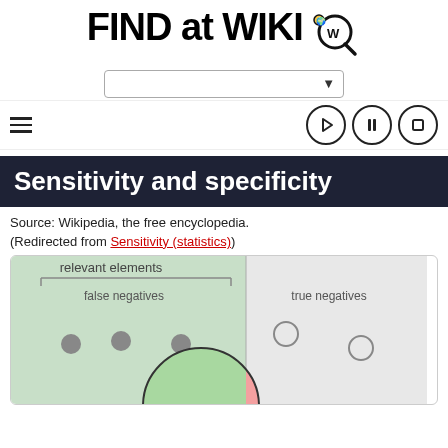FIND at WIKI
[Figure (screenshot): Search bar dropdown UI element with down arrow]
[Figure (infographic): Navigation bar with hamburger menu on left and three control icons (play, pause, stop) on right]
Sensitivity and specificity
Source: Wikipedia, the free encyclopedia.
(Redirected from Sensitivity (statistics))
[Figure (illustration): Diagram showing a grid divided into quadrants: false negatives (green background, filled circles) on left, true negatives (gray background, empty circles) on right, with a large circle overlapping the bottom portion colored green and pink/red, showing the concept of sensitivity and specificity with relevant elements bracket at top]